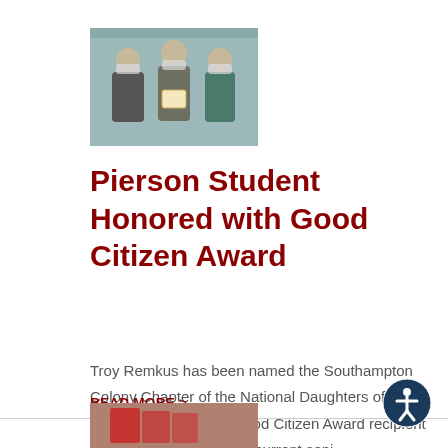[Figure (photo): Three people wearing masks, one holding a certificate or paper, posed together for a photo]
Pierson Student Honored with Good Citizen Award
Troy Remkus has been named the Southampton Colony Chapter of the National Daughters of the American Revolution Good Citizen Award recipient from Pierson for 2021. A current seni...
READ MORE >
[Figure (photo): Partial photo at the bottom of the page, partially visible]